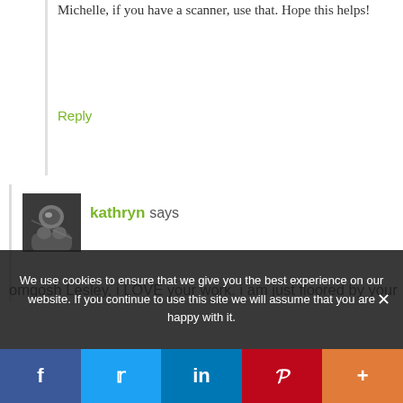Michelle, if you have a scanner, use that. Hope this helps!
Reply
[Figure (photo): Black and white avatar photo of kathryn]
kathryn says
omgosh Lesley, i LOVE your work. i am just floored by your talent! i can see why you have the title of master member, your skill level is crazy and i absolutely love your subject matter and raising awareness of these beautiful cats
We use cookies to ensure that we give you the best experience on our website. If you continue to use this site we will assume that you are happy with it.